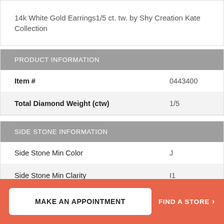14k White Gold Earrings1/5 ct. tw. by Shy Creation Kate Collection
PRODUCT INFORMATION
| Item # | 0443400 |
| Total Diamond Weight (ctw) | 1/5 |
SIDE STONE INFORMATION
| Side Stone Min Color | J |
| Side Stone Min Clarity | I1 |
ALL AVAILABLE METALS
MAKE AN APPOINTMENT
FIND A STORE